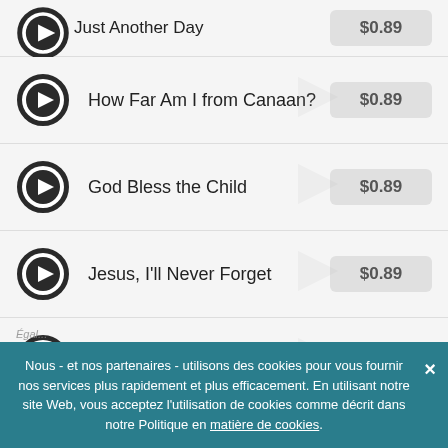Just Another Day — $0.89
How Far Am I from Canaan? — $0.89
God Bless the Child — $0.89
Jesus, I'll Never Forget — $0.89
The Bells of St. Mary's — $0.89
DURÉE TOTALE:  1:03:54
® Summer of Love Recordings  |  © Summer of Love Recordings
Nous - et nos partenaires - utilisons des cookies pour vous fournir nos services plus rapidement et plus efficacement. En utilisant notre site Web, vous acceptez l'utilisation de cookies comme décrit dans notre Politique en matière de cookies.